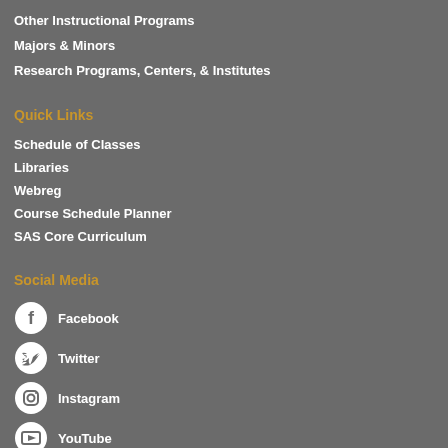Other Instructional Programs
Majors & Minors
Research Programs, Centers, & Institutes
Quick Links
Schedule of Classes
Libraries
Webreg
Course Schedule Planner
SAS Core Curriculum
Social Media
Facebook
Twitter
Instagram
YouTube
LinkedIn